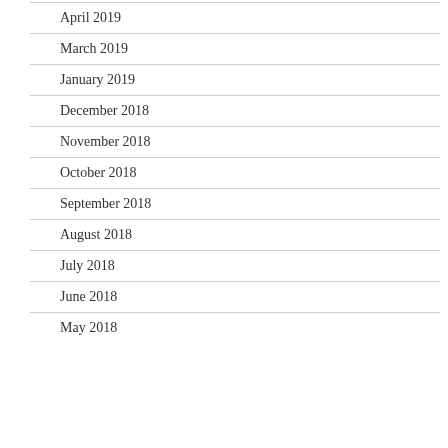April 2019
March 2019
January 2019
December 2018
November 2018
October 2018
September 2018
August 2018
July 2018
June 2018
May 2018